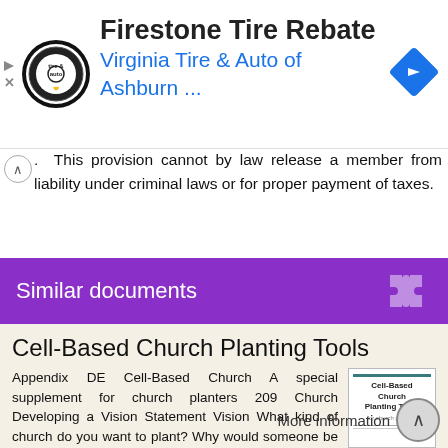[Figure (screenshot): Advertisement banner for Firestone Tire Rebate by Virginia Tire & Auto of Ashburn with logo and blue navigation arrow icon]
This provision cannot by law release a member from liability under criminal laws or for proper payment of taxes.
Similar documents
Cell-Based Church Planting Tools
Appendix DE Cell-Based Church A special supplement for church planters 209 Church Developing a Vision Statement Vision What kind of church do you want to plant? Why would someone be interested in coming
More information